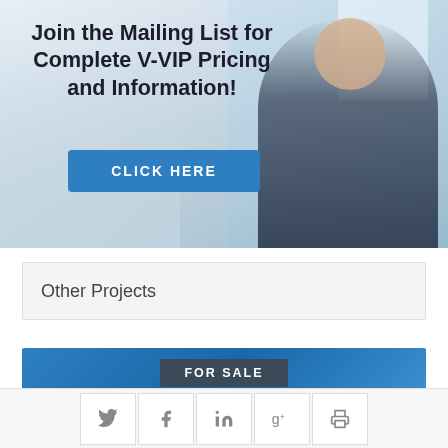[Figure (photo): Banner image showing a professional man in a dark suit smiling, seated in a bright interior with stairs, with overlay text 'Join the Mailing List for Complete V-VIP Pricing and Information!' and a blue 'CLICK HERE' button]
Join the Mailing List for Complete V-VIP Pricing and Information!
CLICK HERE
Other Projects
FOR SALE